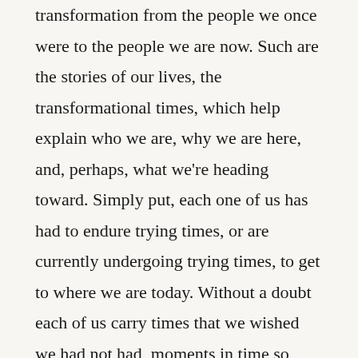transformation from the people we once were to the people we are now. Such are the stories of our lives, the transformational times, which help explain who we are, why we are here, and, perhaps, what we're heading toward. Simply put, each one of us has had to endure trying times, or are currently undergoing trying times, to get to where we are today. Without a doubt each of us carry times that we wished we had not had, moments in time so difficult, so trying, so burdensome, that the mere reflection on them causes us to shutter. Such is the paradox of life—to be haunted by that which makes us who we are. Maybe when we think back, we wonder, how did we ever endure and made it through? Maybe we wonder